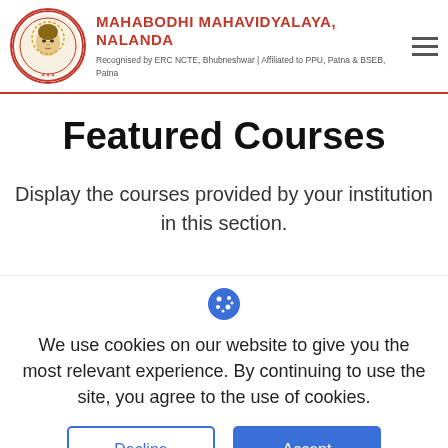MAHABODHI MAHAVIDYALAYA, NALANDA — Recognised by ERC NCTE, Bhubneshwar | Affiliated to PPU, Patna & BSEB, Patna
Featured Courses
Display the courses provided by your institution in this section.
We use cookies on our website to give you the most relevant experience. By continuing to use the site, you agree to the use of cookies.